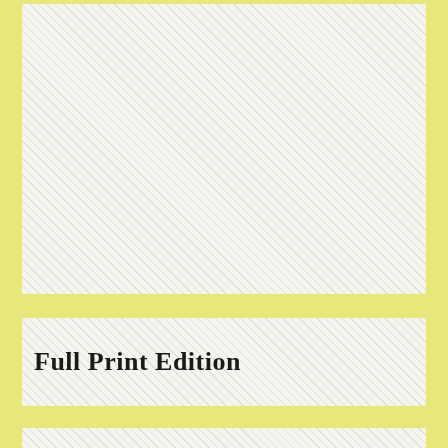[Figure (other): Large hatched/textured image placeholder box at the top of the page, occupying most of the upper portion]
Full Print Edition
[Figure (other): Partial hatched/textured image placeholder box at the bottom, partially visible, with small text and decorative serif lettering beginning to appear]